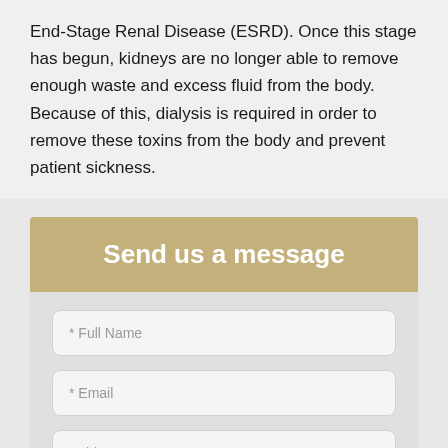End-Stage Renal Disease (ESRD). Once this stage has begun, kidneys are no longer able to remove enough waste and excess fluid from the body. Because of this, dialysis is required in order to remove these toxins from the body and prevent patient sickness.
Send us a message
* Full Name
* Email
Subject